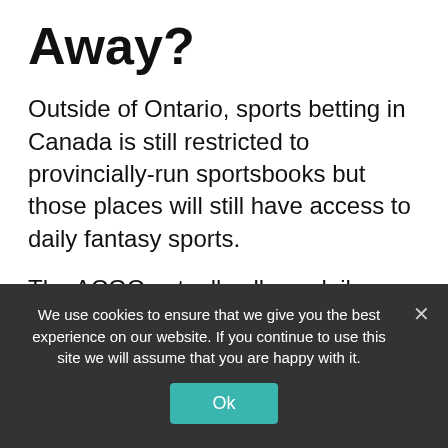Away?
Outside of Ontario, sports betting in Canada is still restricted to provincially-run sportsbooks but those places will still have access to daily fantasy sports.
The ACGO actually allows daily fantasy sports under its new regulations but other rules have complicated matters for DraftKings and FanDuel. Similar to sports betting in Ontario, daily fantasy sports was
We use cookies to ensure that we give you the best experience on our website. If you continue to use this site we will assume that you are happy with it.